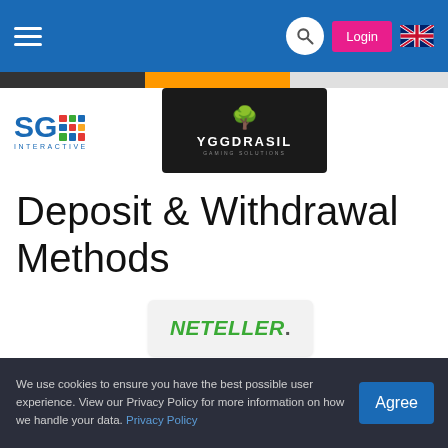Navigation header with hamburger menu, search, Login button, and UK flag
[Figure (logo): SG Interactive logo - blue SG text with coloured grid]
[Figure (logo): Yggdrasil Gaming logo on dark background]
Deposit & Withdrawal Methods
[Figure (logo): Neteller payment logo]
[Figure (logo): paysafe card logo - any cash. paysafe.]
[Figure (logo): Trustly logo]
[Figure (logo): WebMoney logo]
We use cookies to ensure you have the best possible user experience. View our Privacy Policy for more information on how we handle your data. Privacy Policy